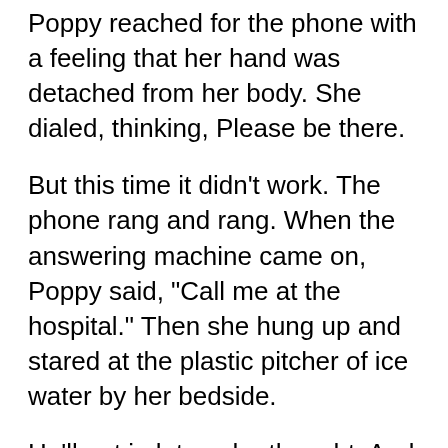Poppy reached for the phone with a feeling that her hand was detached from her body. She dialed, thinking, Please be there.
But this time it didn't work. The phone rang and rang. When the answering machine came on, Poppy said, "Call me at the hospital." Then she hung up and stared at the plastic pitcher of ice water by her bedside.
He'll get in later, she thought. And then he'll call me. I just have to hang on until then.
Poppy wasn't sure why she thought this, but suddenly it was her goal. To hang on until she could talk to James. She didn't need to think